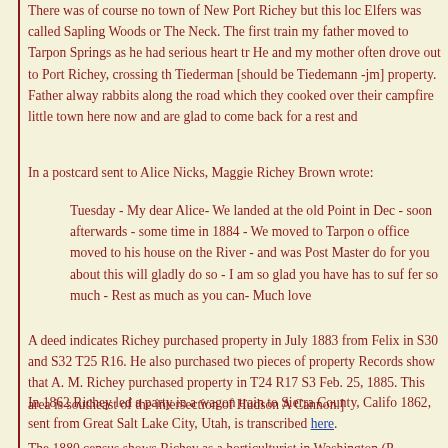There was of course no town of New Port Richey but this loc... Elfers was called Sapling Woods or The Neck. The first train... my father moved to Tarpon Springs as he had serious heart tr... He and my mother often drove out to Port Richey, crossing th... Tiederman [should be Tiedemann -jm] property. Father alway... rabbits along the road which they cooked over their campfire... little town here now and are glad to come back for a rest and...
In a postcard sent to Alice Nicks, Maggie Richey Brown wrote:
Tuesday - My dear Alice- We landed at the old Point in Dec -... soon afterwards - some time in 1884 - We moved to Tarpon o... office moved to his house on the River - and was Post Master... do for you about this will gladly do so - I am so glad you have... has to suf fer so much - Rest as much as you can- Much love...
A deed indicates Richey purchased property in July 1883 from Felix... in S30 and S32 T25 R16. He also purchased two pieces of property... Records show that A. M. Richey purchased property in T24 R17 S3... Feb. 25, 1885. This area is southeast of the intersection of Hudson A... Cannon.]
In 1862 Richey led a party in a wagon train to Sierra County, Califo... 1862, sent from Great Salt Lake City, Utah, is transcribed here.
The 1880 census shows Richey as a horticulturist in Washington (P...